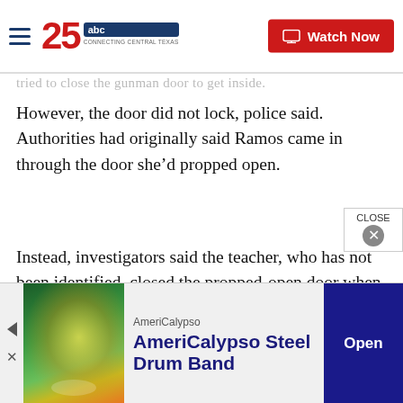25 ABC — KXXV — Connecting Central Texas | Watch Now
…tried to close the gunman door to get inside.
However, the door did not lock, police said. Authorities had originally said Ramos came in through the door she’d propped open.
Instead, investigators said the teacher, who has not been identified, closed the propped-open door when she realized there was a shooter on campus and ran to get her phone and call 911, said Travis Considine, chief communications officer for the Texas Department of Public Safety. Investigators are looking into wh…
[Figure (screenshot): AmeriCalypso advertisement banner at the bottom of a news website page, showing an image of a tropical scene, the text 'AmeriCalypso' and 'AmeriCalypso Steel Drum Band' with an 'Open' button.]